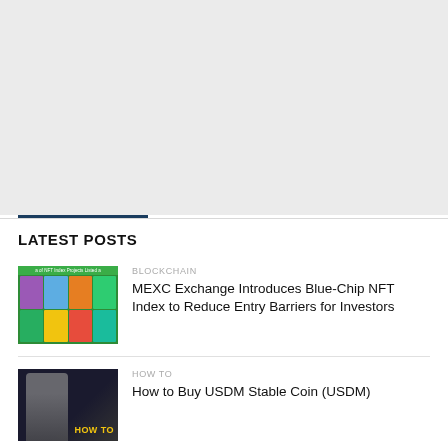[Figure (other): Gray placeholder banner at the top of the page]
LATEST POSTS
[Figure (other): Thumbnail image showing a grid of NFT index project avatars on a green background with label 'a of NFT Index Projects Listed a']
BLOCKCHAIN
MEXC Exchange Introduces Blue-Chip NFT Index to Reduce Entry Barriers for Investors
[Figure (photo): Thumbnail showing a person with 'HOW TO' text on dark background]
HOW TO
How to Buy USDM Stable Coin (USDM)